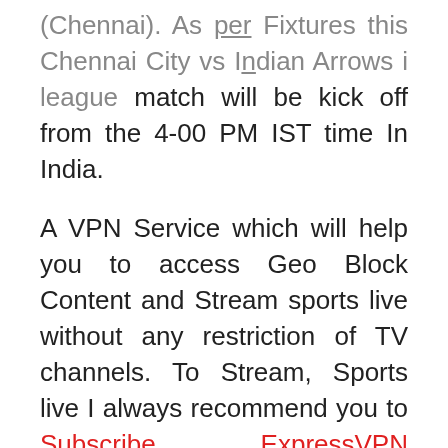(Chennai). As per Fixtures this Chennai City vs Indian Arrows i league match will be kick off from the 4-00 PM IST time In India.
A VPN Service which will help you to access Geo Block Content and Stream sports live without any restriction of TV channels. To Stream, Sports live I always recommend you to Subscribe ExpressVPN because of their Enjoy unrestricted access worldwide features, Fast Server, Easy Setup on almost all device, 24/7 Hour customer support with live chat along with 30